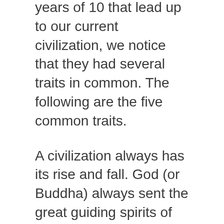years of 10 that lead up to our current civilization, we notice that they had several traits in common. The following are the five common traits.
A civilization always has its rise and fall. God (or Buddha) always sent the great guiding spirits of light of the highest level to each civilization. During the peak of a civilization when light was at its brightest, evil became fierce. When humankind was covered with clouds of dark thought-energy, massive catastrophes inevitably occurred, such as the